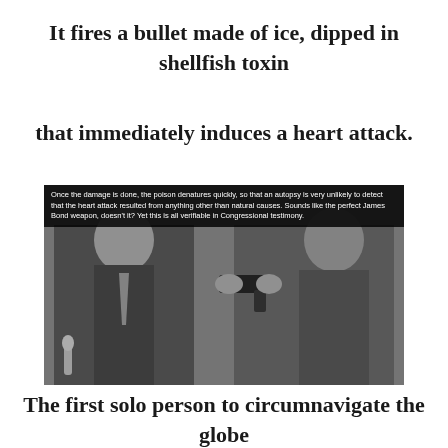It fires a bullet made of ice, dipped in shellfish toxin
that immediately induces a heart attack.
Once the damage is done, the poison denatures quickly, so that an autopsy is very unlikely to detect that the heart attack resulted from anything other than natural causes. Sounds like the perfect James Bond weapon, doesn't it? Yet this is all verifiable in Congressional testimony.
[Figure (photo): Black and white photo of two men in suits, one holding up a handgun, appearing to be at a congressional hearing or official proceeding.]
The first solo person to circumnavigate the globe